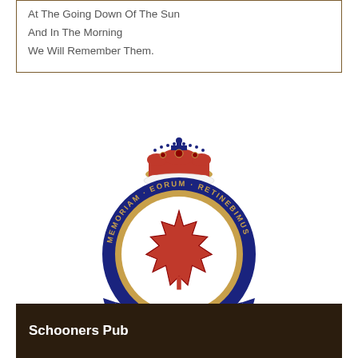At The Going Down Of The Sun
And In The Morning
We Will Remember Them.
[Figure (logo): Royal Canadian Legion emblem: circular badge with navy blue border, gold text reading MEMORIAM EORUM RETINEBIMUS, red maple leaf in centre, royal crown on top, blue banner reading LEGION at bottom, three red poppies below the banner.]
Schooners Pub